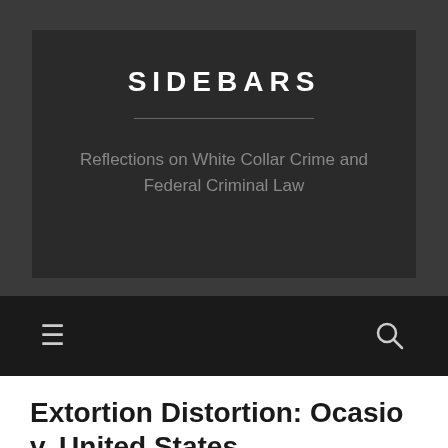SIDEBARS
Reflections on White Collar Crime and Federal Criminal Law
[Figure (other): Navigation bar with hamburger menu icon on the left and search icon on the right, dark background]
Extortion Distortion: Ocasio v. United States